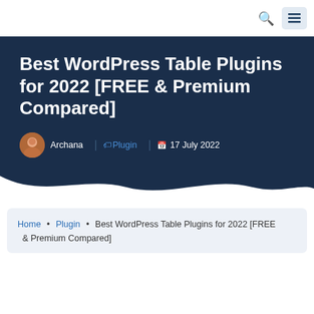Navigation bar with search and menu icons
Best WordPress Table Plugins for 2022 [FREE & Premium Compared]
Archana | Plugin | 17 July 2022
Home • Plugin • Best WordPress Table Plugins for 2022 [FREE & Premium Compared]